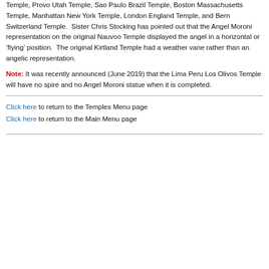Temple, Provo Utah Temple, Sao Paulo Brazil Temple, Boston Massachusetts Temple, Manhattan New York Temple, London England Temple, and Bern Switzerland Temple. Sister Chris Stocking has pointed out that the Angel Moroni representation on the original Nauvoo Temple displayed the angel in a horizontal or ‘flying’ position. The original Kirtland Temple had a weather vane rather than an angelic representation.
Note: It was recently announced (June 2019) that the Lima Peru Los Olivos Temple will have no spire and no Angel Moroni statue when it is completed.
Click here to return to the Temples Menu page
Click here to return to the Main Menu page